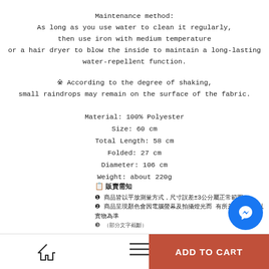Maintenance method:
As long as you use water to clean it regularly,
then use iron with medium temperature
or a hair dryer to blow the inside to maintain a long-lasting water-repellent function.
※ According to the degree of shaking,
small raindrops may remain on the surface of the fabric.
Material: 100% Polyester
Size: 60 cm
Total Length: 58 cm
Folded: 27 cm
Diameter: 106 cm
Weight: about 220g
※ If your order has any items that are out of stock at our suppliers,
we'll notify you immediately and arrange refund for you.
📋 販賣需知
❶ 商品皆以平放測量方式，尺寸誤差±3公分屬正常範圍。
❷ 商品呈現顏色會因電腦螢幕及拍攝燈光而 有所差異，一切以實物為準。
ADD TO CA...